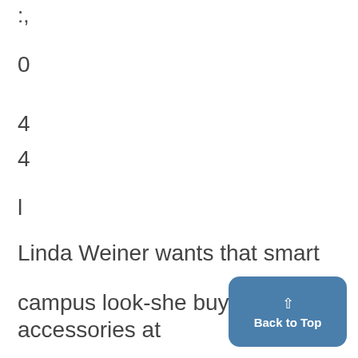:,
0
4
4
l
Linda Weiner wants that smart
campus look-she buys her accessories at